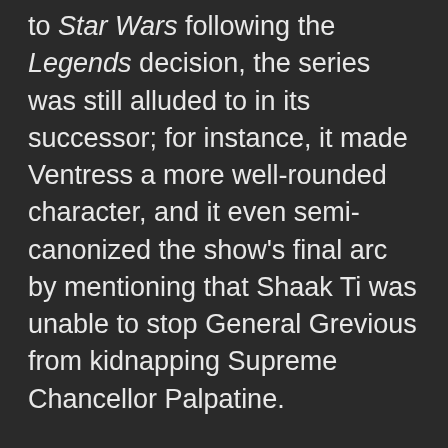to Star Wars following the Legends decision, the series was still alluded to in its successor; for instance, it made Ventress a more well-rounded character, and it even semi-canonized the show's final arc by mentioning that Shaak Ti was unable to stop General Grevious from kidnapping Supreme Chancellor Palpatine.
For a time, the series was held in higher regard than The Clone Wars, before the latter show truly found its footing; even then, it's still celebrated by fans as a shining example of what Star Wars can do in